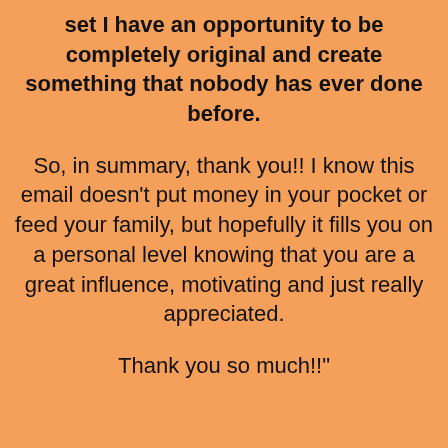set I have an opportunity to be completely original and create something that nobody has ever done before.
So, in summary, thank you!! I know this email doesn't put money in your pocket or feed your family, but hopefully it fills you on a personal level knowing that you are a great influence, motivating and just really appreciated.
Thank you so much!!”